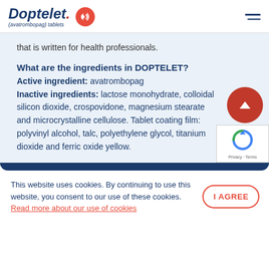Doptelet (avatrombopag) tablets
that is written for health professionals.
What are the ingredients in DOPTELET?
Active ingredient: avatrombopag Inactive ingredients: lactose monohydrate, colloidal silicon dioxide, crospovidone, magnesium stearate and microcrystalline cellulose. Tablet coating film: polyvinyl alcohol, talc, polyethylene glycol, titanium dioxide and ferric oxide yellow.
This website uses cookies. By continuing to use this website, you consent to our use of these cookies. Read more about our use of cookies